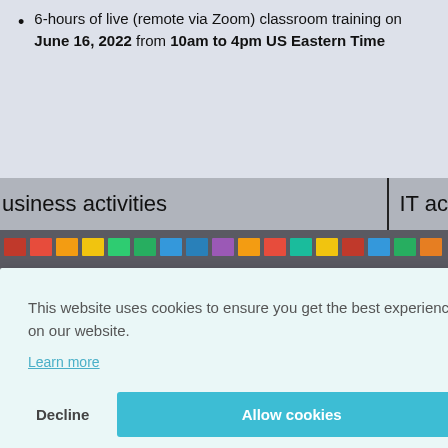6-hours of live (remote via Zoom) classroom training on June 16, 2022 from 10am to 4pm US Eastern Time
[Figure (screenshot): A screenshot of a webpage showing a table/diagram header with 'business activities' on the left and 'IT ac' visible on the right, separated by a vertical divider. Below is a blurred photo of a whiteboard covered in colorful sticky notes. A cookie consent banner overlays the lower portion: text reads 'This website uses cookies to ensure you get the best experience on our website. Learn more' with 'Decline' and 'Allow cookies' buttons. Partial text 'Problem.' visible at bottom of photo.]